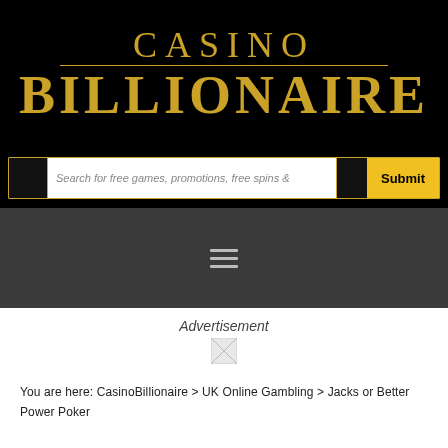[Figure (logo): Casino Billionaire logo in gold text on black background]
[Figure (screenshot): Search bar with text 'Search for free games, promotions, free spins &' and yellow Submit button]
[Figure (screenshot): Dark navigation bar with hamburger menu icon]
Advertisement
[Figure (other): Broken/loading advertisement image placeholder]
You are here: CasinoBillionaire > UK Online Gambling > Jacks or Better Power Poker